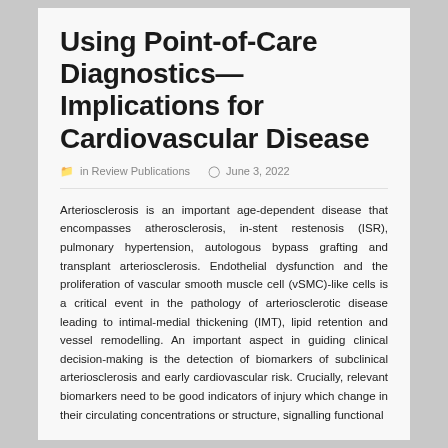Using Point-of-Care Diagnostics—Implications for Cardiovascular Disease
in Review Publications  June 3, 2022
Arteriosclerosis is an important age-dependent disease that encompasses atherosclerosis, in-stent restenosis (ISR), pulmonary hypertension, autologous bypass grafting and transplant arteriosclerosis. Endothelial dysfunction and the proliferation of vascular smooth muscle cell (vSMC)-like cells is a critical event in the pathology of arteriosclerotic disease leading to intimal-medial thickening (IMT), lipid retention and vessel remodelling. An important aspect in guiding clinical decision-making is the detection of biomarkers of subclinical arteriosclerosis and early cardiovascular risk. Crucially, relevant biomarkers need to be good indicators of injury which change in their circulating concentrations or structure, signalling functional